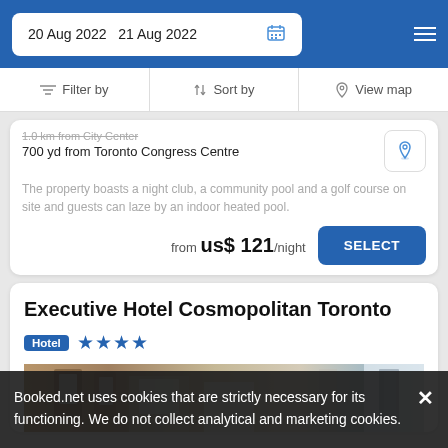20 Aug 2022  21 Aug 2022
Filter by  Sort by  View map
700 yd from Toronto Congress Centre
The property boasts a night club, a community pool and a golf course on site and guests can laze by an indoor heated pool.
from us$ 121/night
Executive Hotel Cosmopolitan Toronto
Hotel ★★★★
[Figure (photo): Hotel lobby interior photo, partial view]
Booked.net uses cookies that are strictly necessary for its functioning. We do not collect analytical and marketing cookies.